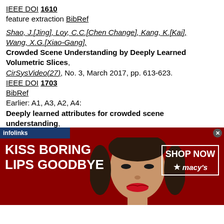IEEE DOI 1610 feature extraction BibRef
Shao, J.[Jing], Loy, C.C.[Chen Change], Kang, K.[Kai], Wang, X.G.[Xiao-Gang]. Crowded Scene Understanding by Deeply Learned Volumetric Slices, CirSysVideo(27), No. 3, March 2017, pp. 613-623. IEEE DOI 1703 BibRef Earlier: A1, A3, A2, A4: Deeply learned attributes for crowded scene understanding, CVPR15(4657-4666) IEEE DOI 1510 Feature extraction BibRef
Shao, J.[Jing], Loy, C.C.[Chen Change], Wang, X.G.[Xiao-
[Figure (other): Macy's advertisement banner: dark red background with a woman's face, text 'KISS BORING LIPS GOODBYE' on the left, 'SHOP NOW' and Macy's star logo on the right. Infolinks bar at top left.]